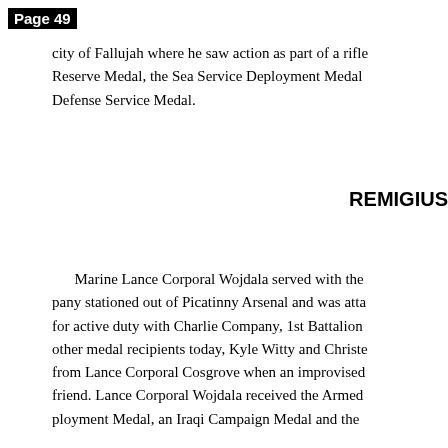Page 49
city of Fallujah where he saw action as part of a rifle Reserve Medal, the Sea Service Deployment Medal Defense Service Medal.
REMIGIUS
Marine Lance Corporal Wojdala served with the pany stationed out of Picatinny Arsenal and was atta for active duty with Charlie Company, 1st Battalion other medal recipients today, Kyle Witty and Christe from Lance Corporal Cosgrove when an improvised friend. Lance Corporal Wojdala received the Armed ployment Medal, an Iraqi Campaign Medal and the